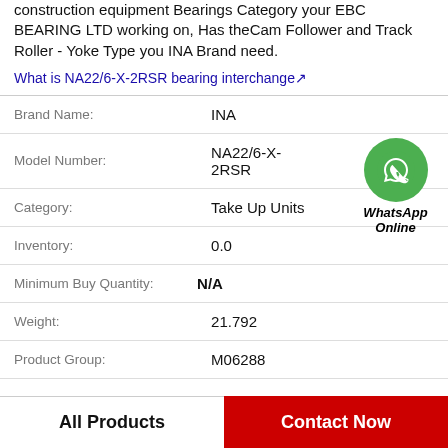construction equipment Bearings Category your EBC BEARING LTD working on, Has theCam Follower and Track Roller - Yoke Type you INA Brand need.
What is NA22/6-X-2RSR bearing interchange↗
| Brand Name: | INA |
| Model Number: | NA22/6-X-2RSR |
| Category: | Take Up Units |
| Inventory: | 0.0 |
| Minimum Buy Quantity: | N/A |
| Weight: | 21.792 |
| Product Group: | M06288 |
[Figure (logo): WhatsApp Online green circle icon with phone handset and WhatsApp Online text below]
All Products
Contact Now